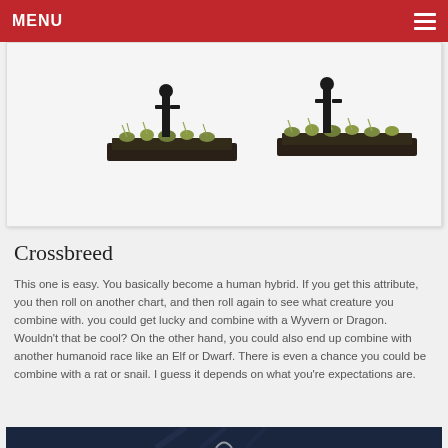MENU
[Figure (photo): Tabletop miniature figures on dark rectangular bases with grass tufts, photographed against a white background.]
Crossbreed
This one is easy. You basically become a human hybrid. If you get this attribute, you then roll on another chart, and then roll again to see what creature you combine with. you could get lucky and combine with a Wyvern or Dragon. Wouldn't that be cool? On the other hand, you could also end up combine with another humanoid race like an Elf or Dwarf. There is even a chance you could be combine with a rat or snail. I guess it depends on what you're expectations are.
[Figure (photo): Partial view of a dark blue background with a figurine or artwork element at the bottom of the page.]